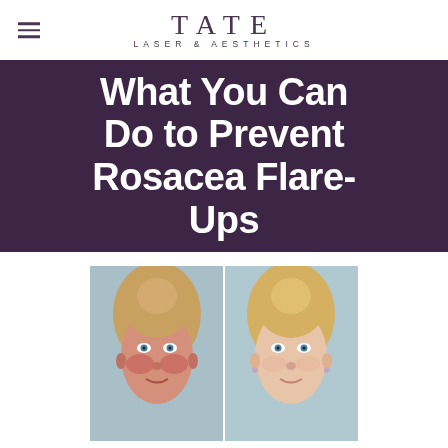TATE LASER & AESTHETICS
What You Can Do to Prevent Rosacea Flare-Ups
[Figure (photo): Before and after split-face photo of a blonde woman showing rosacea treatment results, with reddish skin on the left side and clearer skin on the right side, divided by a white vertical line.]